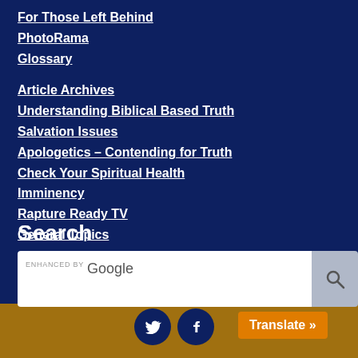For Those Left Behind
PhotoRama
Glossary
Article Archives
Understanding Biblical Based Truth
Salvation Issues
Apologetics – Contending for Truth
Check Your Spiritual Health
Imminency
Rapture Ready TV
General Topics
Search
[Figure (other): Search box with 'ENHANCED BY Google' text and a search button with magnifying glass icon]
[Figure (other): Footer bar with Twitter and Facebook circle icons in dark navy, and an orange 'Translate »' button]